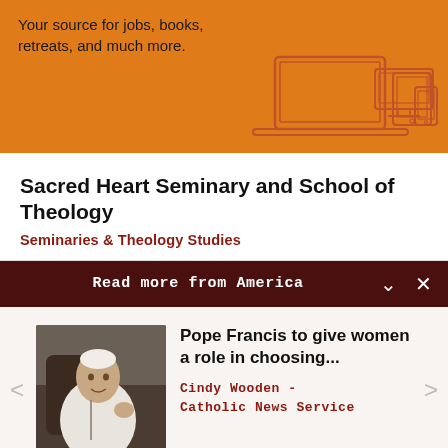Your source for jobs, books, retreats, and much more.
[Figure (illustration): Line-art illustration of desktop monitor, laptop, tablet, and smartphone devices on orange background]
Sacred Heart Seminary and School of Theology
Seminaries & Theology Studies
Read more from America
[Figure (photo): Photo of Pope Francis in white vestments, gesturing with one hand, seated]
Pope Francis to give women a role in choosing...
Cindy Wooden - Catholic News Service